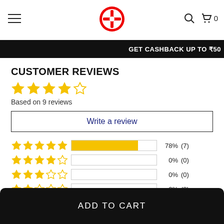Haldirams website header with logo, hamburger menu, search and cart icons
GET CASHBACK UP TO ₹5...
CUSTOMER REVIEWS
Based on 9 reviews
Write a review
| Stars | Bar | Percent | Count |
| --- | --- | --- | --- |
| 5 stars | 78% | 78% | (7) |
| 4 stars | 0% | 0% | (0) |
| 3 stars | 0% | 0% | (0) |
| 2 stars | 0% | 0% | (0) |
| 1 star | 22% | 22% | (2) |
ADD TO CART